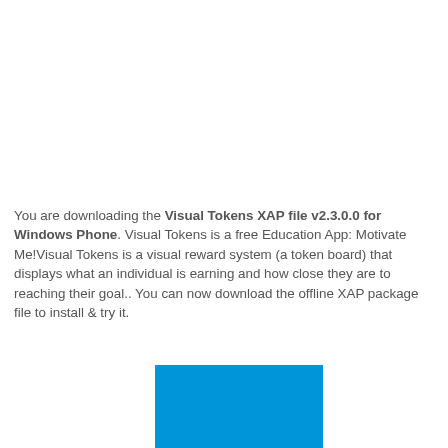You are downloading the Visual Tokens XAP file v2.3.0.0 for Windows Phone. Visual Tokens is a free Education App: Motivate Me!Visual Tokens is a visual reward system (a token board) that displays what an individual is earning and how close they are to reaching their goal.. You can now download the offline XAP package file to install & try it.
[Figure (illustration): A blue rectangular image/screenshot, partially visible at the bottom of the page.]